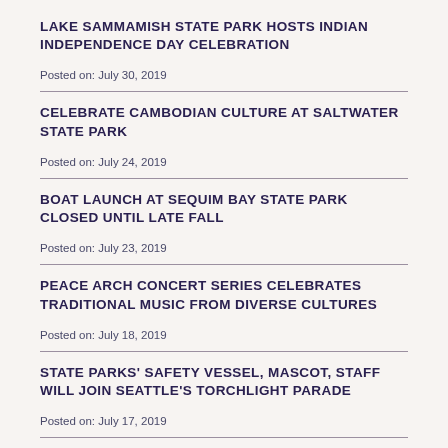LAKE SAMMAMISH STATE PARK HOSTS INDIAN INDEPENDENCE DAY CELEBRATION
Posted on: July 30, 2019
CELEBRATE CAMBODIAN CULTURE AT SALTWATER STATE PARK
Posted on: July 24, 2019
BOAT LAUNCH AT SEQUIM BAY STATE PARK CLOSED UNTIL LATE FALL
Posted on: July 23, 2019
PEACE ARCH CONCERT SERIES CELEBRATES TRADITIONAL MUSIC FROM DIVERSE CULTURES
Posted on: July 18, 2019
STATE PARKS' SAFETY VESSEL, MASCOT, STAFF WILL JOIN SEATTLE'S TORCHLIGHT PARADE
Posted on: July 17, 2019
STATE BOATING PROGRAM'S ANNUAL CAMPAIGN